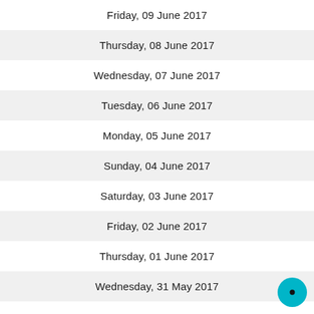Friday, 09 June 2017
Thursday, 08 June 2017
Wednesday, 07 June 2017
Tuesday, 06 June 2017
Monday, 05 June 2017
Sunday, 04 June 2017
Saturday, 03 June 2017
Friday, 02 June 2017
Thursday, 01 June 2017
Wednesday, 31 May 2017